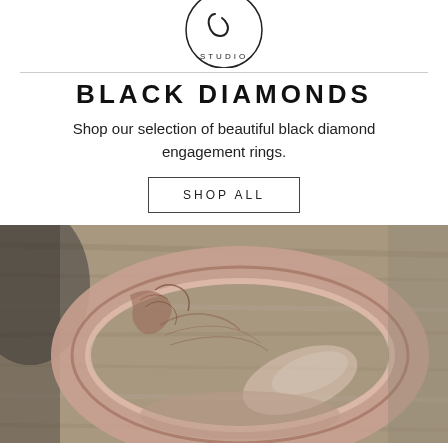[Figure (logo): Circular studio logo with a stylized letter or symbol and the word STUDIO at the bottom]
BLACK DIAMONDS
Shop our selection of beautiful black diamond engagement rings.
SHOP ALL
[Figure (photo): Close-up photograph of a rose gold textured band ring with mountain or nature-inspired engraved design, lying on a wooden surface]